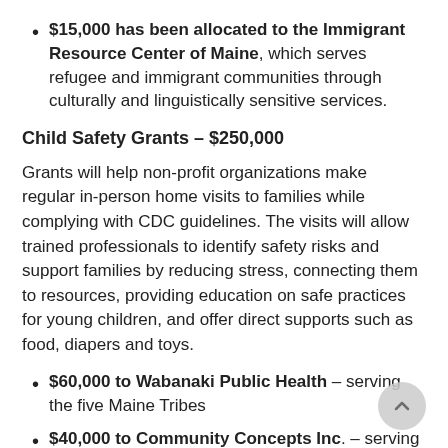$15,000 has been allocated to the Immigrant Resource Center of Maine, which serves refugee and immigrant communities through culturally and linguistically sensitive services.
Child Safety Grants – $250,000
Grants will help non-profit organizations make regular in-person home visits to families while complying with CDC guidelines. The visits will allow trained professionals to identify safety risks and support families by reducing stress, connecting them to resources, providing education on safe practices for young children, and offer direct supports such as food, diapers and toys.
$60,000 to Wabanaki Public Health – serving the five Maine Tribes
$40,000 to Community Concepts Inc. – serving Androscoggin & Oxford Counties